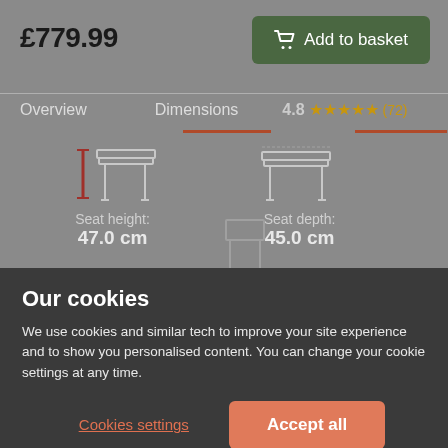£779.99
Add to basket
Overview
Dimensions
4.8 ★★★★★ (72)
[Figure (illustration): Chair side profile showing seat height measurement with red measurement line indicating 47.0 cm]
Seat height: 47.0 cm
[Figure (illustration): Chair side profile showing seat depth measurement indicating 45.0 cm]
Seat depth: 45.0 cm
[Figure (illustration): Partial chair front profile at bottom of gray section]
Our cookies
We use cookies and similar tech to improve your site experience and to show you personalised content. You can change your cookie settings at any time.
Cookies settings
Accept all